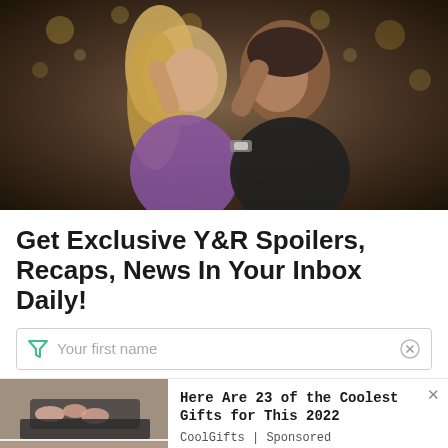[Figure (photo): A couple embracing closely, facing each other. A blonde woman in a purple top and a man in a black t-shirt with a watch. Bokeh lights in background suggesting a decorated tree or festive lights.]
Get Exclusive Y&R Spoilers, Recaps, News In Your Inbox Daily!
[Figure (other): Email signup input field with a green filter/funnel icon on the left, 'Your first name' placeholder text, and a circled X button on the right.]
[Figure (photo): Advertisement image showing two photos: hands on a black mat and a couple holding hands. Text: 'Here Are 23 of the Coolest Gifts for This 2022', source: 'CoolGifts | Sponsored']